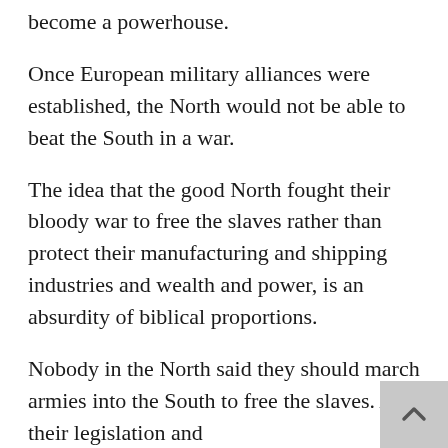become a powerhouse.
Once European military alliances were established, the North would not be able to beat the South in a war.
The idea that the good North fought their bloody war to free the slaves rather than protect their manufacturing and shipping industries and wealth and power, is an absurdity of biblical proportions.
Nobody in the North said they should march armies into the South to free the slaves. All their legislation and